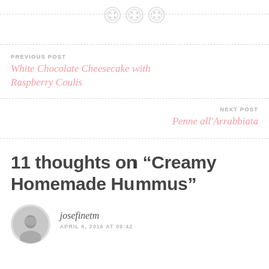[Figure (illustration): Decorative top divider with three button icons centered on a dashed horizontal line]
PREVIOUS POST
White Chocolate Cheesecake with Raspberry Coulis
NEXT POST
Penne all'Arrabbiata
11 thoughts on “Creamy Homemade Hummus”
josefinetm
APRIL 6, 2016 AT 09:42